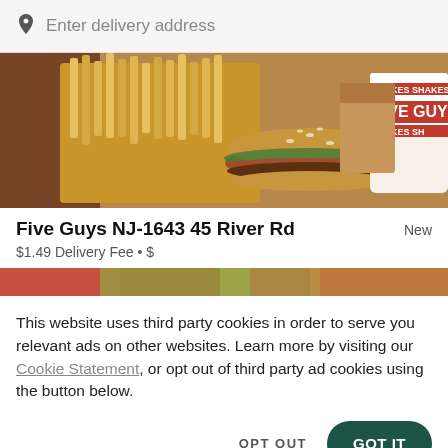Enter delivery address
[Figure (photo): Five Guys restaurant banner showing a burger, fries in a paper bag, and a Five Guys branded shake cup]
Five Guys NJ-1643 45 River Rd
New
$1.49 Delivery Fee • $
[Figure (photo): Partial strip showing a food image background]
This website uses third party cookies in order to serve you relevant ads on other websites. Learn more by visiting our Cookie Statement, or opt out of third party ad cookies using the button below.
OPT OUT
GOT IT